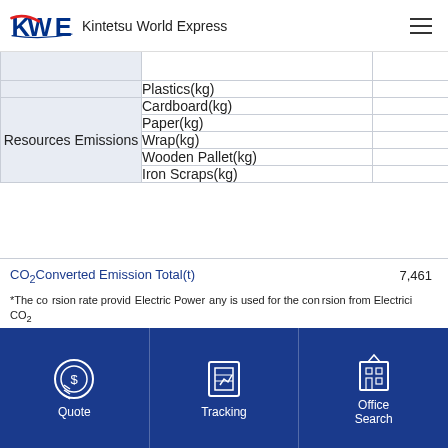KWE Kintetsu World Express
| Category | Item | Value |
| --- | --- | --- |
|  | Plastics(kg) | 60,567 |
| Resources Emissions | Cardboard(kg) | 843,264 |
| Resources Emissions | Paper(kg) | 219,223 |
| Resources Emissions | Wrap(kg) | 74,323 |
| Resources Emissions | Wooden Pallet(kg) | 805,086 |
| Resources Emissions | Iron Scraps(kg) | 1,965 |
CO₂ Converted Emission Total(t)   7,461
*The conversion rate provided by Electric Power Company is used for the conversion from Electricity to CO₂
Quote | Tracking | Office Search